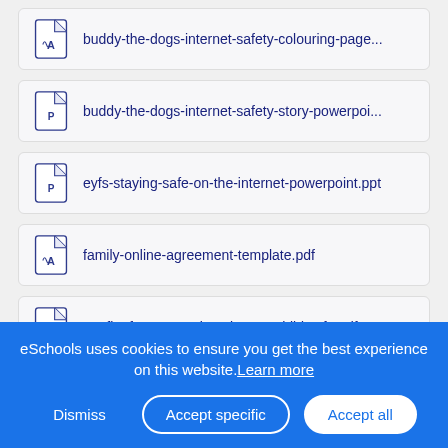buddy-the-dogs-internet-safety-colouring-page...
buddy-the-dogs-internet-safety-story-powerpoi...
eyfs-staying-safe-on-the-internet-powerpoint.ppt
family-online-agreement-template.pdf
Leaflet for parents keeping my child safe.pdf
eSchools uses cookies to ensure you get the best experience on this website. Learn more
Dismiss  Accept specific  Accept all